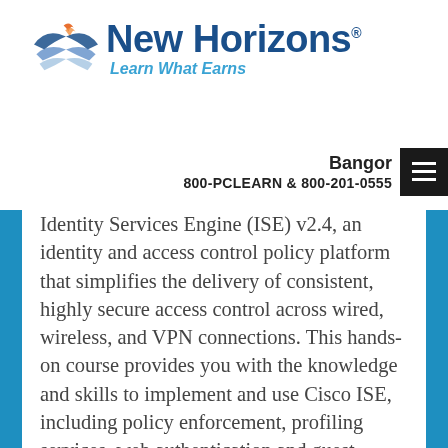[Figure (logo): New Horizons logo with stylized wing/book icon, blue text 'New Horizons®' and tagline 'Learn What Earns' in teal italic]
Bangor
800-PCLEARN  & 800-201-0555
Identity Services Engine (ISE) v2.4, an identity and access control policy platform that simplifies the delivery of consistent, highly secure access control across wired, wireless, and VPN connections. This hands-on course provides you with the knowledge and skills to implement and use Cisco ISE, including policy enforcement, profiling services, web authentication and guest access services, BYOD, endpoint compliance services, and TACACS+ device